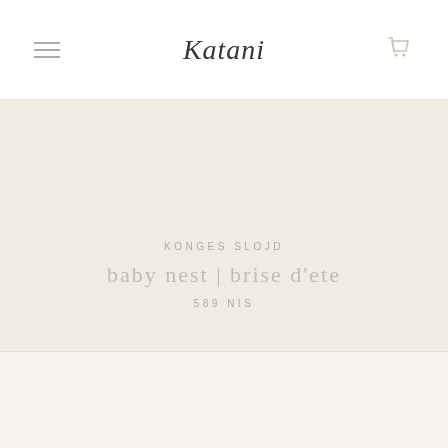Katani
KONGES SLOJD
baby nest | brise d'ete
589 NIS